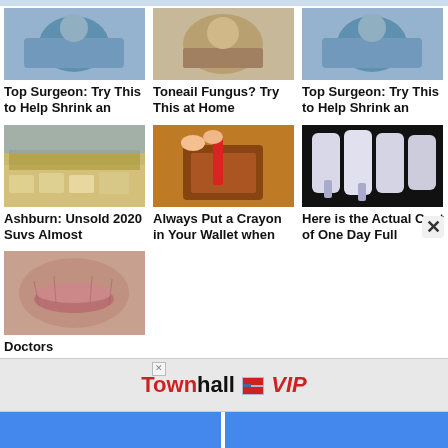[Figure (photo): Top row: three thumbnail images — surgeon/medical, toenail/medical, surgeon/medical]
Top Surgeon: Try This to Help Shrink an
Toneail Fungus? Try This at Home
Top Surgeon: Try This to Help Shrink an
[Figure (photo): Middle row: three thumbnail images — cars in lot, wallet with crayon, dental implant x-ray]
Ashburn: Unsold 2020 Suvs Almost
Always Put a Crayon in Your Wallet when
Here is the Actual Cost of One Day Full
[Figure (photo): Bottom row: one thumbnail image — close-up of elderly lips/mouth]
Doctors
[Figure (logo): TownhallVIP advertisement banner with flag icon]
Blue navigation bar at bottom